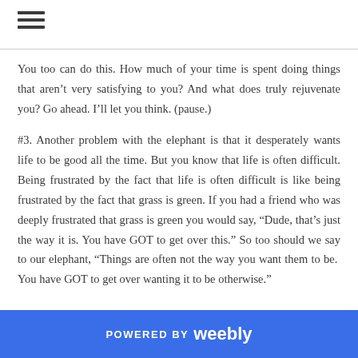☰
You too can do this. How much of your time is spent doing things that aren't very satisfying to you? And what does truly rejuvenate you? Go ahead. I'll let you think. (pause.)
#3. Another problem with the elephant is that it desperately wants life to be good all the time. But you know that life is often difficult. Being frustrated by the fact that life is often difficult is like being frustrated by the fact that grass is green. If you had a friend who was deeply frustrated that grass is green you would say, "Dude, that's just the way it is. You have GOT to get over this." So too should we say to our elephant, "Things are often not the way you want them to be.  You have GOT to get over wanting it to be otherwise."
POWERED BY weebly